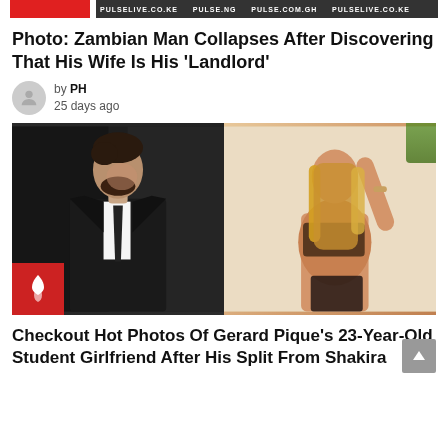PH | [site name banner]
Photo: Zambian Man Collapses After Discovering That His Wife Is His 'Landlord'
by PH
25 days ago
[Figure (photo): Composite of two photos: left side shows a bearded man in a dark suit and tie looking downward; right side shows a blonde woman posing with arm raised wearing lingerie. A red fire badge icon is in the bottom-left corner.]
Checkout Hot Photos Of Gerard Pique's 23-Year-Old Student Girlfriend After His Split From Shakira